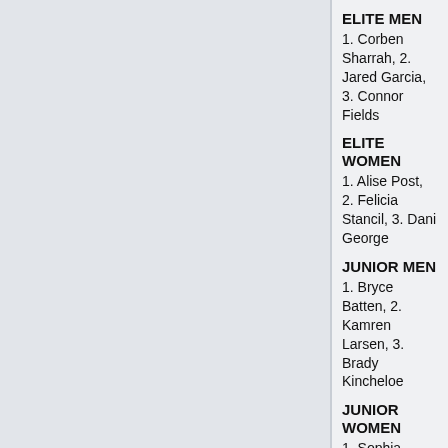ELITE MEN
1. Corben Sharrah, 2. Jared Garcia, 3. Connor Fields
ELITE WOMEN
1. Alise Post, 2. Felicia Stancil, 3. Dani George
JUNIOR MEN
1. Bryce Batten, 2. Kamren Larsen, 3. Brady Kincheloe
JUNIOR WOMEN
1. Sophia Foresta
DAY 3
ELITE MEN
1. MARIS STROMBERGS
2. SYLVAIN ANDRE
3. CONNOR FIELDS
4. TRENT JONES
5. TWAN VAN GENDT
6. JARED GARCIA
7. JORIS DAUDET
8. CORBEN